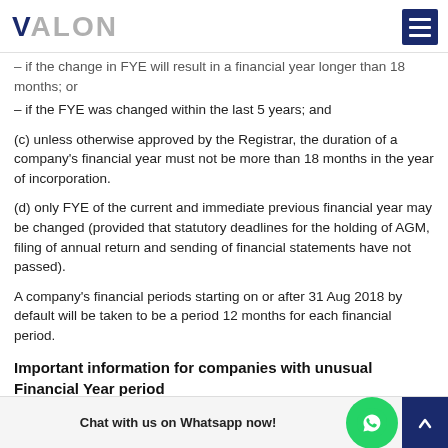VALON
– if the change in FYE will result in a financial year longer than 18 months; or
– if the FYE was changed within the last 5 years; and
(c) unless otherwise approved by the Registrar, the duration of a company's financial year must not be more than 18 months in the year of incorporation.
(d) only FYE of the current and immediate previous financial year may be changed (provided that statutory deadlines for the holding of AGM, filing of annual return and sending of financial statements have not passed).
A company's financial periods starting on or after 31 Aug 2018 by default will be taken to be a period 12 months for each financial period.
Important information for companies with unusual Financial Year period
Companies with an unusual financial year period (e.g. 52 weeks) should